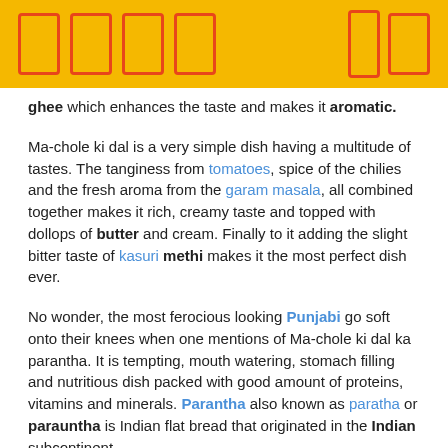[icon symbols]
ghee which enhances the taste and makes it aromatic.
Ma-chole ki dal is a very simple dish having a multitude of tastes. The tanginess from tomatoes, spice of the chilies and the fresh aroma from the garam masala, all combined together makes it rich, creamy taste and topped with dollops of butter and cream. Finally to it adding the slight bitter taste of kasuri methi makes it the most perfect dish ever.
No wonder, the most ferocious looking Punjabi go soft onto their knees when one mentions of Ma-chole ki dal ka parantha. It is tempting, mouth watering, stomach filling and nutritious dish packed with good amount of proteins, vitamins and minerals. Parantha also known as paratha or parauntha is Indian flat bread that originated in the Indian subcontinent.